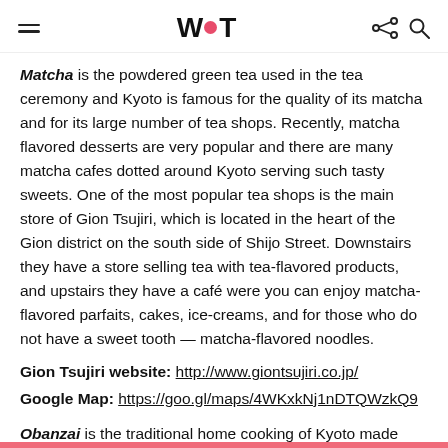WOT
Matcha is the powdered green tea used in the tea ceremony and Kyoto is famous for the quality of its matcha and for its large number of tea shops. Recently, matcha flavored desserts are very popular and there are many matcha cafes dotted around Kyoto serving such tasty sweets. One of the most popular tea shops is the main store of Gion Tsujiri, which is located in the heart of the Gion district on the south side of Shijo Street. Downstairs they have a store selling tea with tea-flavored products, and upstairs they have a café were you can enjoy matcha-flavored parfaits, cakes, ice-creams, and for those who do not have a sweet tooth — matcha-flavored noodles.
Gion Tsujiri website: http://www.giontsujiri.co.jp/
Google Map: https://goo.gl/maps/4WKxkNj1nDTQWzkQ9
Obanzai is the traditional home cooking of Kyoto made mainly with sea...arked by the h...
[Figure (other): Ad banner: Job For IT Engineer (salmon/pink background with briefcase icon)]